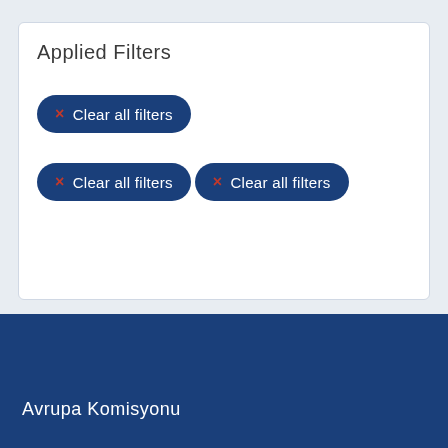Applied Filters
× Clear all filters
× Clear all filters
× Clear all filters
Avrupa Komisyonu